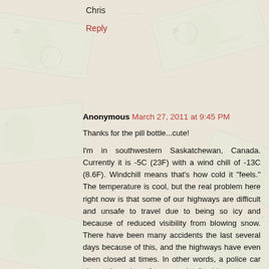Chris
Reply
Anonymous March 27, 2011 at 9:45 PM
Thanks for the pill bottle...cute!
I'm in southwestern Saskatchewan, Canada. Currently it is -5C (23F) with a wind chill of -13C (8.6F). Windchill means that's how cold it "feels." The temperature is cool, but the real problem here right now is that some of our highways are difficult and unsafe to travel due to being so icy and because of reduced visibility from blowing snow. There have been many accidents the last several days because of this, and the highways have even been closed at times. In other words, a police car sits at the edge of town and tells drivers to turn back. It is not safe to travel. Many people who have tried have found themselves upside down in a ditch, waiting for someone to help them, or have had collisions. Luckily, I am safe and cozy at home, and my town itself is perfectly safe to drive in.